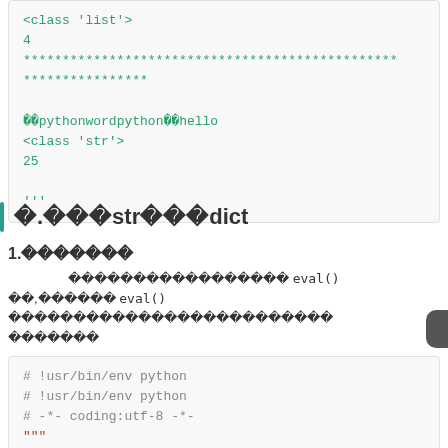<class 'list'>
4
************************************************
****************
��pythonwordpython��hello
<class 'str'>
25

'''
�.���str���dict
1.�������
����������������� eval() ��,������ eval() �������������������������
# !usr/bin/env python
# !usr/bin/env python
# -*- coding:utf-8 -*-
"""